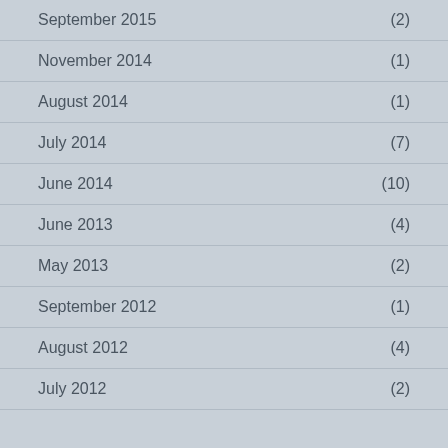September 2015 (2)
November 2014 (1)
August 2014 (1)
July 2014 (7)
June 2014 (10)
June 2013 (4)
May 2013 (2)
September 2012 (1)
August 2012 (4)
July 2012 (2)